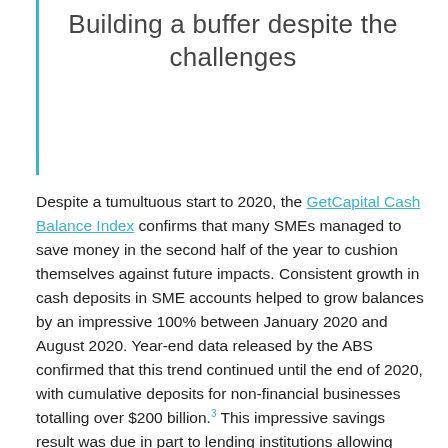Building a buffer despite the challenges
Despite a tumultuous start to 2020, the GetCapital Cash Balance Index confirms that many SMEs managed to save money in the second half of the year to cushion themselves against future impacts. Consistent growth in cash deposits in SME accounts helped to grow balances by an impressive 100% between January 2020 and August 2020. Year-end data released by the ABS confirmed that this trend continued until the end of 2020, with cumulative deposits for non-financial businesses totalling over $200 billion.³ This impressive savings result was due in part to lending institutions allowing businesses to defer loan payments during the initial lockdown, landlords deferring rent payments and a range of government emergency measures that put